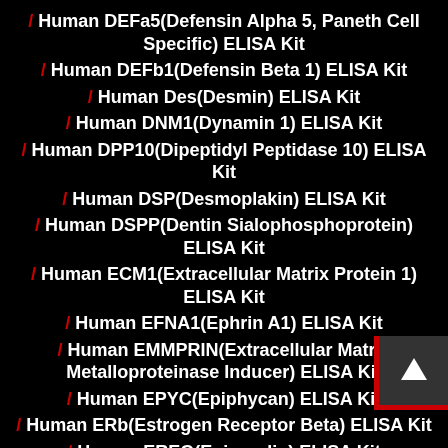/ Human DEFa5(Defensin Alpha 5, Paneth Cell Specific) ELISA Kit
/ Human DEFb1(Defensin Beta 1) ELISA Kit
/ Human Des(Desmin) ELISA Kit
/ Human DNM1(Dynamin 1) ELISA Kit
/ Human DPP10(Dipeptidyl Peptidase 10) ELISA Kit
/ Human DSP(Desmoplakin) ELISA Kit
/ Human DSPP(Dentin Sialophosphoprotein) ELISA Kit
/ Human ECM1(Extracellular Matrix Protein 1) ELISA Kit
/ Human EFNA1(Ephrin A1) ELISA Kit
/ Human EMMPRIN(Extracellular Matrix Metalloproteinase Inducer) ELISA Kit
/ Human EPYC(Epiphycan) ELISA Kit
/ Human ERb(Estrogen Receptor Beta) ELISA Kit
/ Human EREG(Epiregulin) ELISA Kit
/ Human ETRA(Endothelin Receptor A) ELISA Kit
/ Human ETRB(Endothelin Receptor B) ELISA Kit